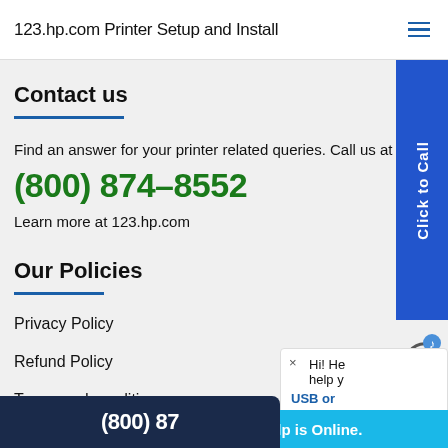123.hp.com Printer Setup and Install
Contact us
Find an answer for your printer related queries. Call us at
(800) 874-8552
Learn more at 123.hp.com
Our Policies
Privacy Policy
Refund Policy
Terms and conditions
[Figure (other): Click to Call blue vertical button on the right side]
[Figure (other): WiFi/phone icon]
[Figure (other): Live chat popup showing Hi! and USB text]
(800) 87
Live Help is Online.